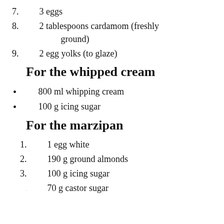7. 3 eggs
8. 2 tablespoons cardamom (freshly ground)
9. 2 egg yolks (to glaze)
For the whipped cream
800 ml whipping cream
100 g icing sugar
For the marzipan
1. 1 egg white
2. 190 g ground almonds
3. 100 g icing sugar
4. 70 g castor sugar